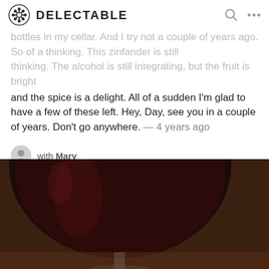DELECTABLE
bottles in my cellar. And I tried not a couple of years ago. So of a thinking. The alcohol is still integrating, but the fruit is bright and the spice is a delight. All of a sudden I'm glad to have a few of these left. Hey, Day, see you in a couple of years. Don't go anywhere. — 4 years ago
with Mary
Shay, Shawn and 3 others liked this
[Figure (photo): Photo showing a glass of red wine on the left and a dark wine bottle with a white label on the right, both on a wooden surface]